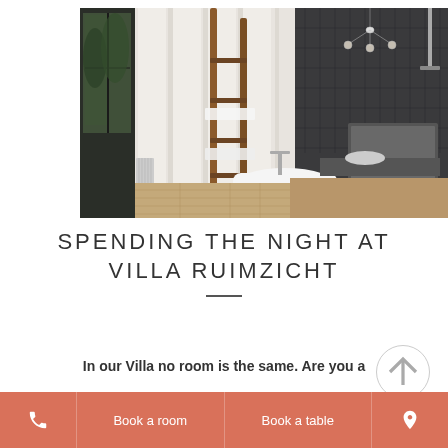[Figure (photo): Luxury bathroom interior with freestanding bathtub, wooden ladder towel rack, chandelier, and dark tile shower area with wooden flooring]
SPENDING THE NIGHT AT VILLA RUIMZICHT
In our Villa no room is the same. Are you a bathing type? Choose one of our Water fun rooms. Feeling like having a romantic
Book a room   Book a table